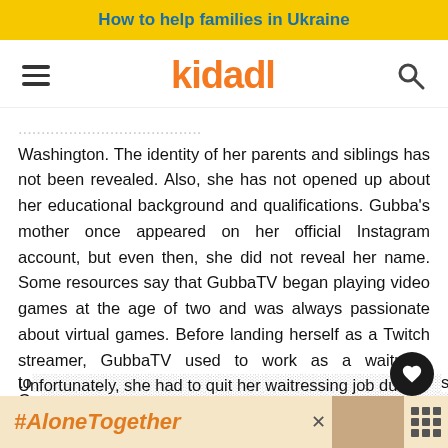How to help families in Ukraine
[Figure (logo): Kidadl logo with hamburger menu and search icon]
Washington. The identity of her parents and siblings has not been revealed. Also, she has not opened up about her educational background and qualifications. Gubba's mother once appeared on her official Instagram account, but even then, she did not reveal her name. Some resources say that GubbaTV began playing video games at the age of two and was always passionate about virtual games. Before landing herself as a Twitch streamer, GubbaTV used to work as a waitress. Unfortunately, she had to quit her waitressing job due to [customers]. Gu[bbaTV]
[Figure (screenshot): #AloneTogether advertisement banner at bottom of page with photo of person]